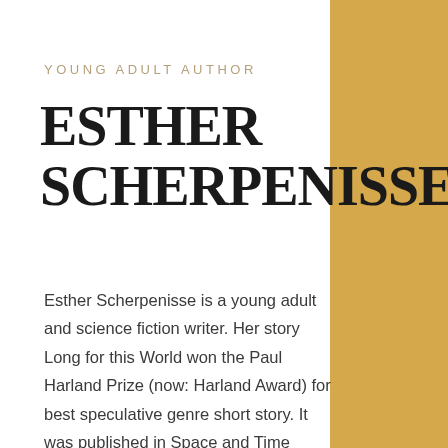YOUNG ADULT AUTHOR
ESTHER SCHERPENISSE
Esther Scherpenisse is a young adult and science fiction writer. Her story Long for this World won the Paul Harland Prize (now: Harland Award) for best speculative genre short story. It was published in Space and Time Magazine in 2018. Esther has also